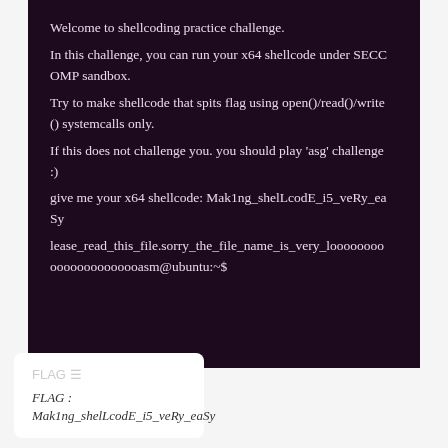Welcome to shellcoding practice challenge.
In this challenge, you can run your x64 shellcode under SECCOMP sandbox.
Try to make shellcode that spits flag using open()/read()/write() systemcalls only.
If this does not challenge you. you should play 'asg' challenge :)
give me your x64 shellcode: Mak1ng_shelLcodE_i5_veRy_eaSy
lease_read_this_file.sorry_the_file_name_is_very_looooooooooooooooooooasm@ubuntu:~$
FLAG : Mak1ng_shelLcodE_i5_veRy_eaSy